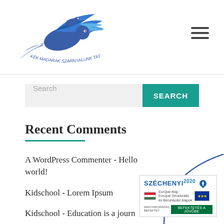[Figure (logo): Blue bird logo with Hungarian text 'Kék Madárak Szárnyalunk Tatabányán' curving below]
Search
Recent Comments
A WordPress Commenter - Hello world!
Kidschool - Lorem Ipsum
Kidschool - Education is a journ
Kidschool - Just do it
[Figure (logo): Széchenyi 2020 EU funding badge with Hungarian flag, EU flag, and text 'BEFEKTETÉS A JÖVŐBE']